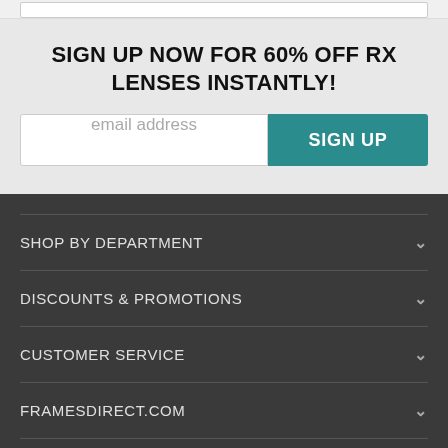SIGN UP NOW FOR 60% OFF RX LENSES INSTANTLY!
email address
SIGN UP
SHOP BY DEPARTMENT
DISCOUNTS & PROMOTIONS
CUSTOMER SERVICE
FRAMESDIRECT.COM
HELPFUL INFORMATION